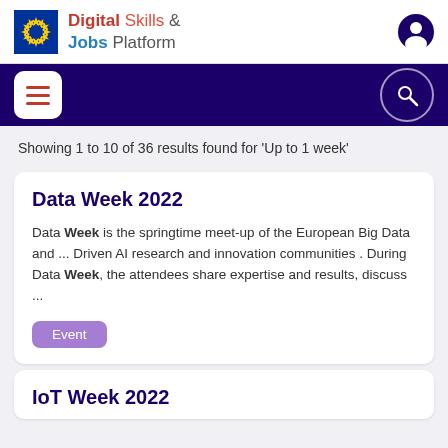Digital Skills & Jobs Platform
Showing 1 to 10 of 36 results found for 'Up to 1 week'
Data Week 2022
Data Week is the springtime meet-up of the European Big Data and ... Driven AI research and innovation communities . During Data Week, the attendees share expertise and results, discuss ...
Event
IoT Week 2022